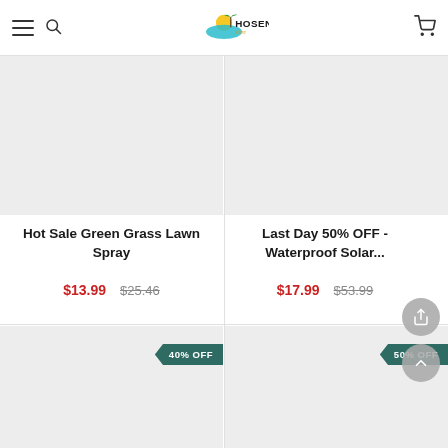Hosen - online shop header with hamburger menu, search, logo, and cart
[Figure (screenshot): Product image placeholder - Hot Sale Green Grass Lawn Spray (top left, light gray background)]
Hot Sale Green Grass Lawn Spray
$13.99  $25.46
[Figure (screenshot): Product image placeholder - Last Day 50% OFF - Waterproof Solar... (top right, light gray background)]
Last Day 50% OFF - Waterproof Solar...
$17.99  $53.99
[Figure (screenshot): Product image placeholder with 40% OFF badge (bottom left, light gray background)]
[Figure (screenshot): Product image placeholder with 50% OFF badge (bottom right, light gray background)]